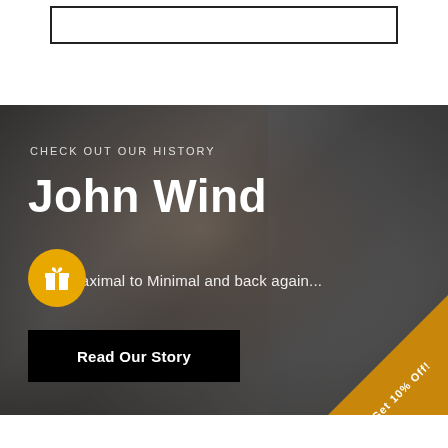[Figure (screenshot): Top white section with an input/search box outlined in black]
[Figure (photo): Hero banner showing John Wind smiling, wearing a dark shirt, with shelving in background. Overlaid with text: CHECK OUT OUR HISTORY, John Wind, From Maximal to Minimal and back again..., Read Our Story button, a gift icon button, and a Get 10% Off! discount ribbon in the corner.]
CHECK OUT OUR HISTORY
John Wind
From Maximal to Minimal and back again...
Read Our Story
Get 10% Off!